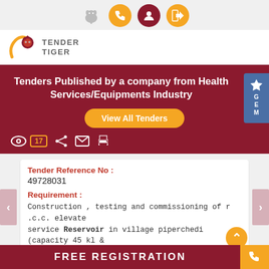Navigation bar with icons: elephant, phone, user, login
[Figure (logo): Tender Tiger logo with tiger graphic and text TENDER TIGER]
Tenders Published by a company from Health Services/Equipments Industry
View All Tenders
17
Tender Reference No : 49728031
Requirement : Construction , testing and commissioning of r .c.c. elevated service Reservoir in village piperchedi (capacity 45 kl &
FREE REGISTRATION